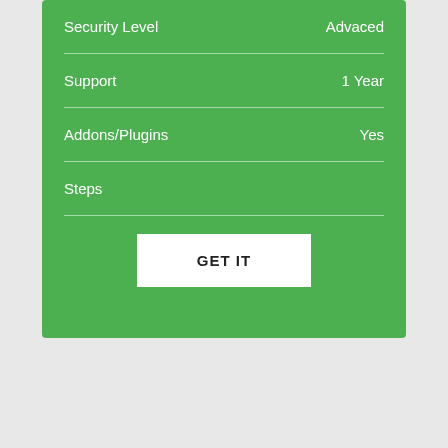| Feature | Value |
| --- | --- |
| Security Level | Advaced |
| Support | 1 Year |
| Addons/Plugins | Yes |
| Steps |  |
GET IT